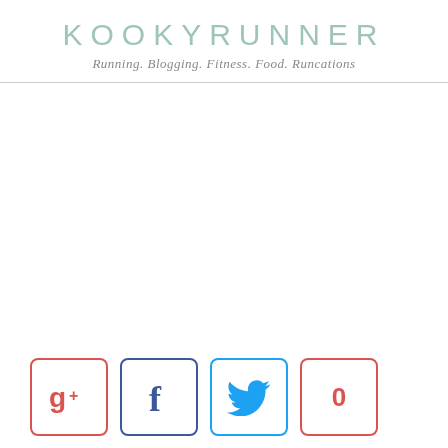KOOKYRUNNER
Running. Blogging. Fitness. Food. Runcations
[Figure (other): Social sharing buttons: Google+, Facebook, Twitter, and a count button showing 0]
0